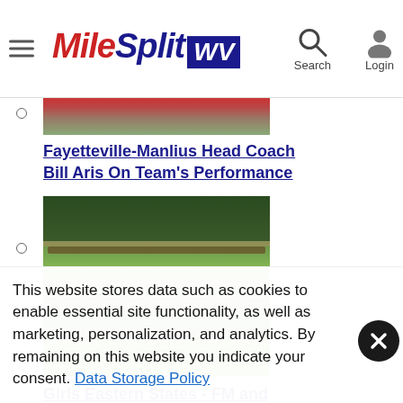MileSplit WV
[Figure (screenshot): Cropped top of a sports event photo with red and green colors]
Fayetteville-Manlius Head Coach Bill Aris On Team's Performance
[Figure (photo): Aerial view of a cross country race course with green field and runners]
Girls Eastern States - FM and Claire Walters winners
[Figure (photo): Partial view of green tree-lined race course]
This website stores data such as cookies to enable essential site functionality, as well as marketing, personalization, and analytics. By remaining on this website you indicate your consent. Data Storage Policy